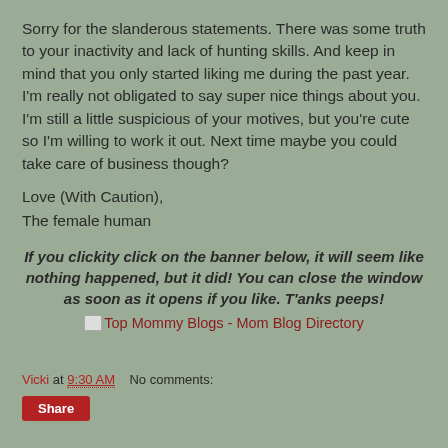Sorry for the slanderous statements.  There was some truth to your inactivity and lack of hunting skills.   And keep in mind that you only started liking me during the past year.  I'm really not obligated to say super nice things about you.   I'm still a little suspicious of your motives, but you're cute so I'm willing to work it out.  Next time maybe you could take care of business though?
Love (With Caution),
The female human
If you clickity click on the banner below, it will seem like nothing happened, but it did!  You can close the window as soon as it opens if you like.  T'anks peeps!
[Figure (other): Top Mommy Blogs - Mom Blog Directory banner link with small broken image icon]
Vicki at 9:30 AM    No comments:
Share